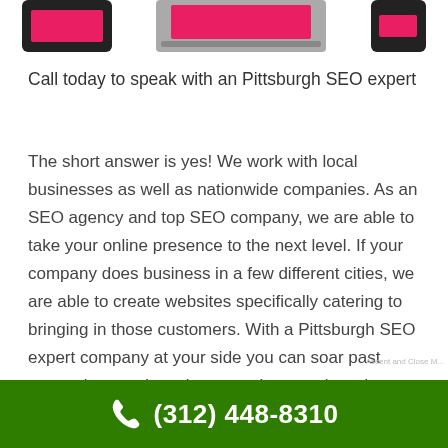[Figure (illustration): Three devices shown at top: a tablet, a laptop, and a smaller tablet/phone, each displaying a pink/magenta screen or banner.]
Call today to speak with an Pittsburgh SEO expert
The short answer is yes! We work with local businesses as well as nationwide companies. As an SEO agency and top SEO company, we are able to take your online presence to the next level. If your company does business in a few different cities, we are able to create websites specifically catering to bringing in those customers. With a Pittsburgh SEO expert company at your side you can soar past competitors and continue growing your brand
Ascent and Close M... (312) 448-8310